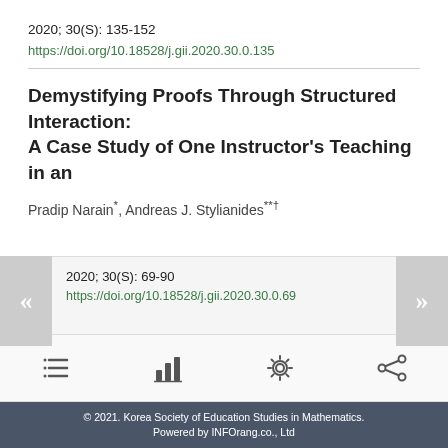2020; 30(S): 135-152
https://doi.org/10.18528/j.gii.2020.30.0.135
Demystifying Proofs Through Structured Interaction: A Case Study of One Instructor's Teaching in an
Pradip Narain*, Andreas J. Stylianides**†
2020; 30(S): 69-90
https://doi.org/10.18528/j.gii.2020.30.0.69
© 2021. Korea Society of Education Studies in Mathematics. Powered by INFOrang.co., Ltd